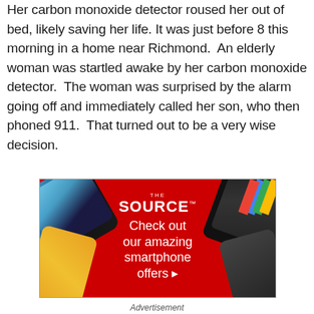Her carbon monoxide detector roused her out of bed, likely saving her life. It was just before 8 this morning in a home near Richmond.  An elderly woman was startled awake by her carbon monoxide detector.  The woman was surprised by the alarm going off and immediately called her son, who then phoned 911.  That turned out to be a very wise decision.
[Figure (illustration): Advertisement banner for The Source showing smartphones arranged around a red diamond shape in the center. Text reads 'THE SOURCE - Check out our amazing smartphone offers ▸'. Phones visible include Samsung Galaxy A52 5G and Samsung Galaxy S21 5G.]
Advertisement